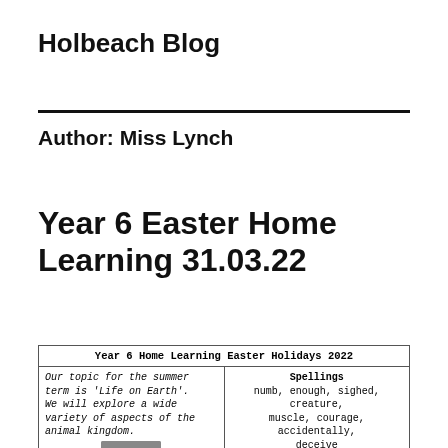Holbeach Blog
Author: Miss Lynch
Year 6 Easter Home Learning 31.03.22
| Year 6 Home Learning Easter Holidays 2022 |
| --- |
| Our topic for the summer term is 'Life on Earth'.
We will explore a wide variety of aspects of the animal kingdom. | Spellings
numb, enough, sighed, creature, muscle, courage, accidentally, deceive |
| [photo] |  |